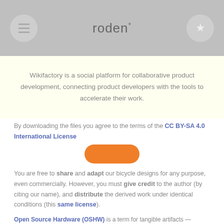roden*
Wikifactory is a social platform for collaborative product development, connecting product developers with the tools to accelerate their work.
By downloading the files you agree to the terms of the CC BY-SA 4.0 International License
[Figure (other): Orange rounded rectangle / blob shape used as a visual button or accent]
You are free to share and adapt our bicycle designs for any purpose, even commercially. However, you must give credit to the author (by citing our name), and distribute the derived work under identical conditions (this same license).
Open Source Hardware (OSHW) is a term for tangible artifacts — machines, devices, or other physical things — whose design has been released to the public in such a way that anyone can make, modify, distribute, and use those things. Hardware is different from software in that physical resources must always be committed for the creation of physical goods. Accordingly,